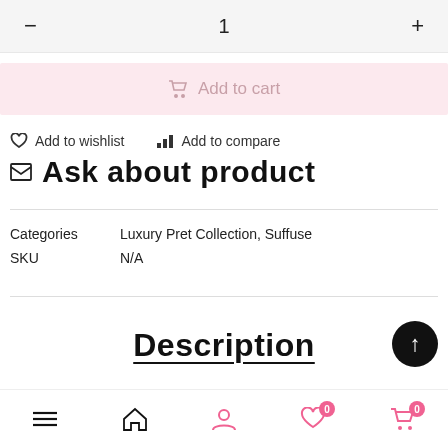- 1 +
Add to cart
Add to wishlist   Add to compare
Ask about product
Categories   Luxury Pret Collection, Suffuse
SKU   N/A
Description
Navigation bar with menu, home, account, wishlist (0), cart (0)